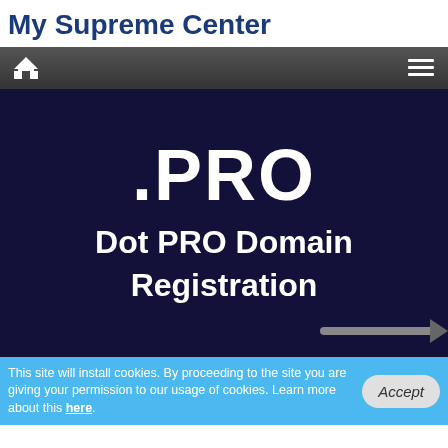My Supreme Center
[Figure (screenshot): Navigation bar with home icon on left and hamburger menu icon on right, dark gray gradient background]
.PRO
Dot PRO Domain Registration
This site will install cookies. By proceeding to the site you are giving your permission to our usage of cookies. Learn more about this here.